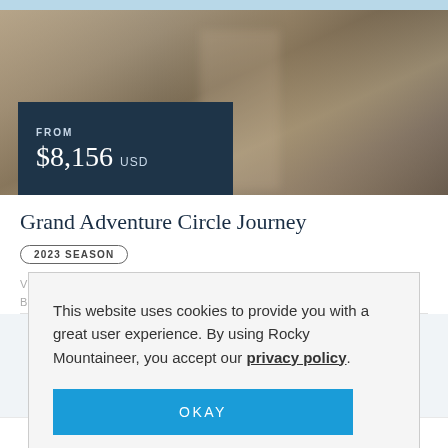[Figure (photo): Blurred hero image of a train or landscape viewed through a window, with warm brown and olive tones]
FROM
$8,156 USD
Grand Adventure Circle Journey
2023 SEASON
This website uses cookies to provide you with a great user experience. By using Rocky Mountaineer, you accept our privacy policy.
OKAY
- LEARN MORE -